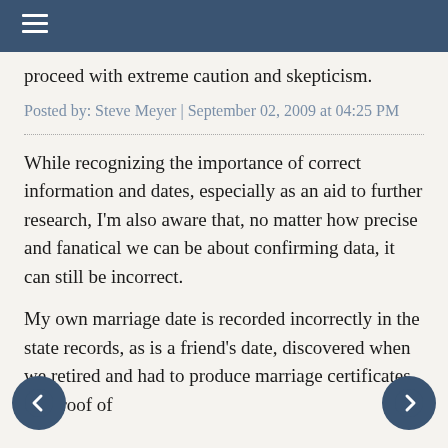≡
proceed with extreme caution and skepticism.
Posted by: Steve Meyer | September 02, 2009 at 04:25 PM
While recognizing the importance of correct information and dates, especially as an aid to further research, I'm also aware that, no matter how precise and fanatical we can be about confirming data, it can still be incorrect.
My own marriage date is recorded incorrectly in the state records, as is a friend's date, discovered when we retired and had to produce marriage certificates for proof of